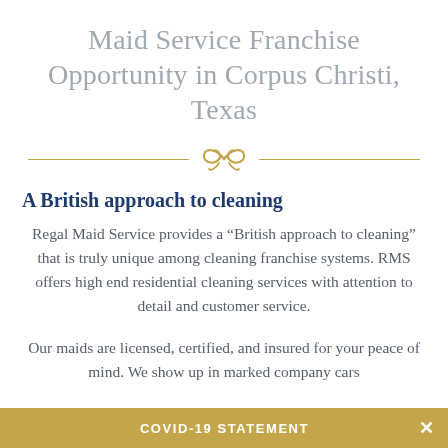Maid Service Franchise Opportunity in Corpus Christi, Texas
[Figure (illustration): Gold decorative divider with horizontal lines on both sides and a cursive floral/swirl ornament in the center]
A British approach to cleaning
Regal Maid Service provides a “British approach to cleaning” that is truly unique among cleaning franchise systems. RMS offers high end residential cleaning services with attention to detail and customer service.
Our maids are licensed, certified, and insured for your peace of mind. We show up in marked company cars
COVID-19 STATEMENT ×